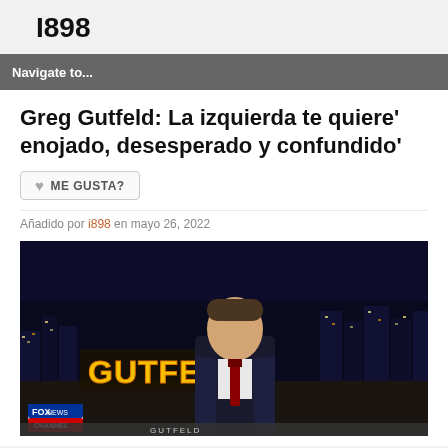I898
Navigate to...
Greg Gutfeld: La izquierda te quiere' enojado, desesperado y confundido'
ME GUSTA?
Añadido por i898 en mayo 26, 2022
[Figure (screenshot): Screenshot of Greg Gutfeld on the Gutfeld! Fox News show, sitting at a desk with a city skyline background and the show logo visible.]